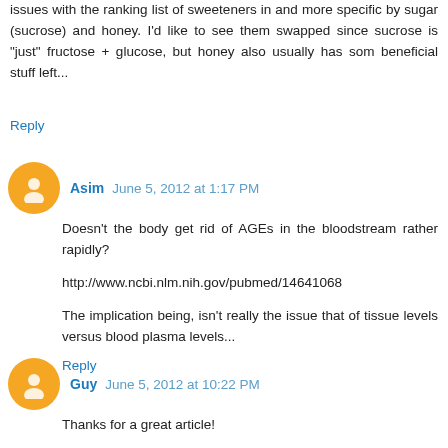issues with the ranking list of sweeteners in and more specific by sugar (sucrose) and honey. I'd like to see them swapped since sucrose is "just" fructose + glucose, but honey also usually has som beneficial stuff left...
Reply
Asim  June 5, 2012 at 1:17 PM
Doesn't the body get rid of AGEs in the bloodstream rather rapidly?
http://www.ncbi.nlm.nih.gov/pubmed/14641068
The implication being, isn't really the issue that of tissue levels versus blood plasma levels...
Reply
Guy  June 5, 2012 at 10:22 PM
Thanks for a great article!